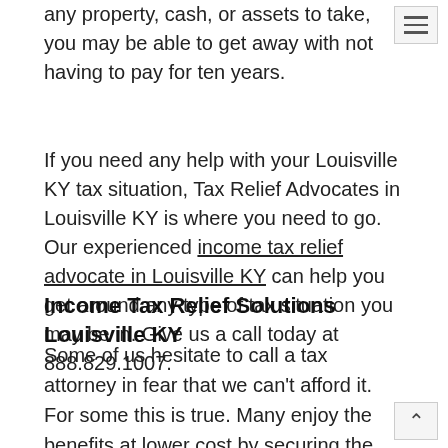any property, cash, or assets to take, you may be able to get away with not having to pay for ten years.
If you need any help with your Louisville KY tax situation, Tax Relief Advocates in Louisville KY is where you need to go. Our experienced income tax relief advocate in Louisville KY can help you get around any type of tax situation you may be in. Give us a call today at 888.829.1007.
Income Tax Relief Solutions Louisville KY
Some of us hesitate to call a tax attorney in fear that we can't afford it. For some this is true. Many enjoy the benefits at lower cost by securing the services of a Tax Relief Advocate in Louisville KY.